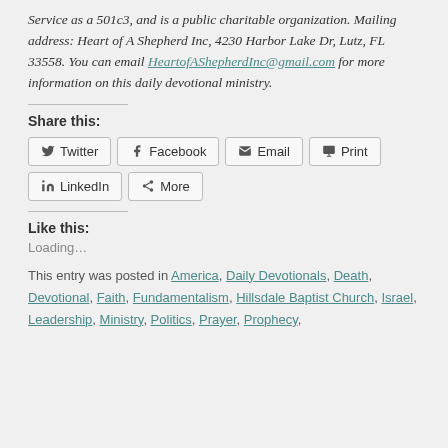Service as a 501c3, and is a public charitable organization. Mailing address: Heart of A Shepherd Inc, 4230 Harbor Lake Dr, Lutz, FL 33558. You can email HeartofAShepherdInc@gmail.com for more information on this daily devotional ministry.
Share this:
Twitter | Facebook | Email | Print | LinkedIn | More
Like this:
Loading...
This entry was posted in America, Daily Devotionals, Death, Devotional, Faith, Fundamentalism, Hillsdale Baptist Church, Israel, Leadership, Ministry, Politics, Prayer, Prophecy,